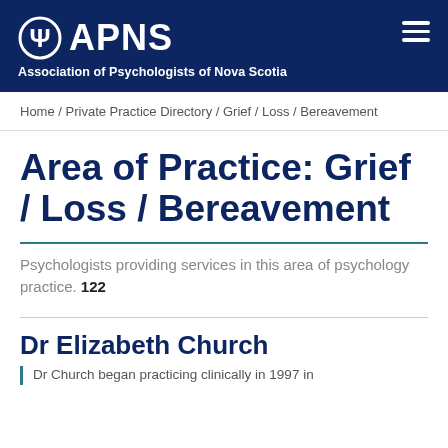Ψ APNS — Association of Psychologists of Nova Scotia
Home / Private Practice Directory / Grief / Loss / Bereavement
Area of Practice: Grief / Loss / Bereavement
Psychologists providing services in this area of psychology practice. 122
Dr Elizabeth Church
Dr Church began practicing clinically in 1997 in